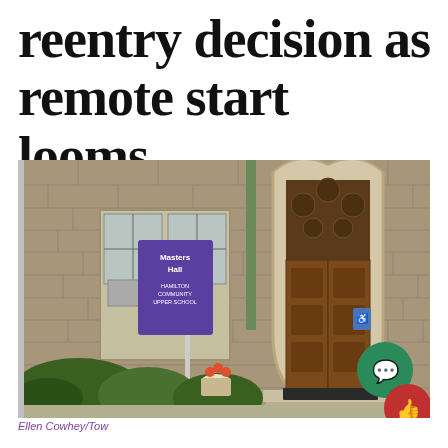reentry decision as remote start looms
[Figure (photo): Exterior photo of a stone church or school building with a gothic arched wooden door and a purple sign reading 'Masters Hall' with text about Hamilton Community Upper School. Green shrubs and a white flower pot in front. A green chat bubble icon and red thumbs-up icon are overlaid in the bottom right corner.]
Ellen Cowhey/Tow